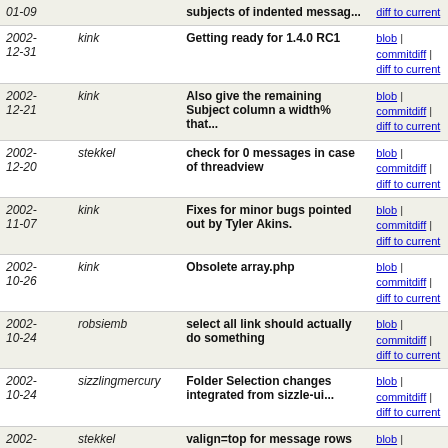| Date | Author | Message | Links |
| --- | --- | --- | --- |
| 2002-01-09 |  | subjects of indented messag... | blob | commitdiff | diff to current |
| 2002-12-31 | kink | Getting ready for 1.4.0 RC1 | blob | commitdiff | diff to current |
| 2002-12-21 | kink | Also give the remaining Subject column a width% that... | blob | commitdiff | diff to current |
| 2002-12-20 | stekkel | check for 0 messages in case of threadview | blob | commitdiff | diff to current |
| 2002-11-07 | kink | Fixes for minor bugs pointed out by Tyler Akins. | blob | commitdiff | diff to current |
| 2002-10-26 | kink | Obsolete array.php | blob | commitdiff | diff to current |
| 2002-10-24 | robsiemb | select all link should actually do something | blob | commitdiff | diff to current |
| 2002-10-24 | sizzlingmercury | Folder Selection changes integrated from sizzle-ui... | blob | commitdiff | diff to current |
| 2002-10-15 | stekkel | valign=top for message rows | blob | commitdiff | diff to current |
| 2002-10-15 | teepe | fix for display of empty date | blob | commitdiff | diff to current |
| 2002-10-10 | stekkel | forgot table tag | blob | commitdiff | diff to current |